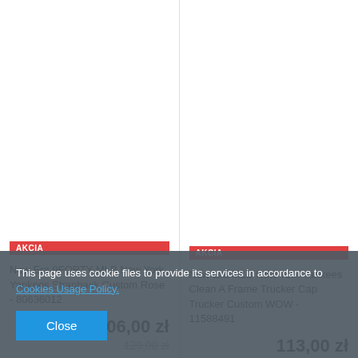[Figure (photo): Product image area for New Era 9FORTY MLB New York Yankees Strapback Custom Rose cap (left column, top)]
AKCIA
New Era 9FORTY MLB New York Yankees Strapback Custom Rose - 80636012
106,00 zł
129,00 zł
[Figure (photo): Product image area for New Era MLB New York Yankees Clean A Frame Trucker Cap Trucker Custom WOW cap (right column, top)]
AKCIA
New Era MLB New York Yankees Clean A Frame Trucker Cap Trucker Custom WOW - 11588491
113,00 zł
This page uses cookie files to provide its services in accordance to Cookies Usage Policy.
Close